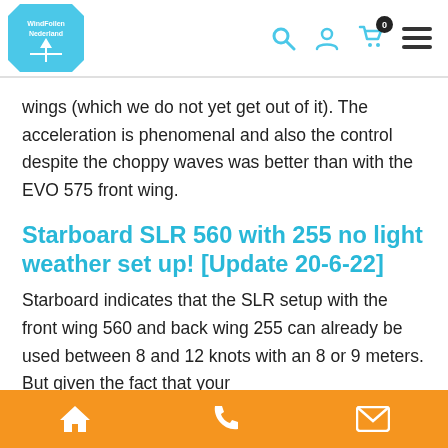WindFoilen Nederland — navigation header with logo, search, account, cart (0), and menu icons
wings (which we do not yet get out of it). The acceleration is phenomenal and also the control despite the choppy waves was better than with the EVO 575 front wing.
Starboard SLR 560 with 255 no light weather set up! [Update 20-6-22]
Starboard indicates that the SLR setup with the front wing 560 and back wing 255 can already be used between 8 and 12 knots with an 8 or 9 meters. But given the fact that your
Home | Phone | Email — bottom navigation bar